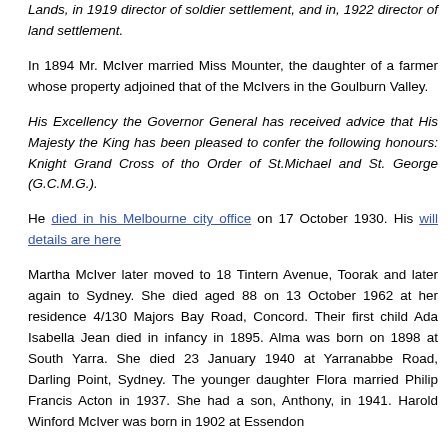Lands, in 1919 director of soldier settlement, and in, 1922 director of land settlement.
In 1894 Mr. McIver married Miss Mounter, the daughter of a farmer whose property adjoined that of the McIvers in the Goulburn Valley.
His Excellency the Governor General has received advice that His Majesty the King has been pleased to confer the following honours: Knight Grand Cross of tho Order of St.Michael and St. George (G.C.M.G.).
He died in his Melbourne city office on 17 October 1930. His will details are here
Martha McIver later moved to 18 Tintern Avenue, Toorak and later again to Sydney. She died aged 88 on 13 October 1962 at her residence 4/130 Majors Bay Road, Concord. Their first child Ada Isabella Jean died in infancy in 1895. Alma was born on 1898 at South Yarra. She died 23 January 1940 at Yarranabbe Road, Darling Point, Sydney. The younger daughter Flora married Philip Francis Acton in 1937. She had a son, Anthony, in 1941. Harold Winford McIver was born in 1902 at Essendon